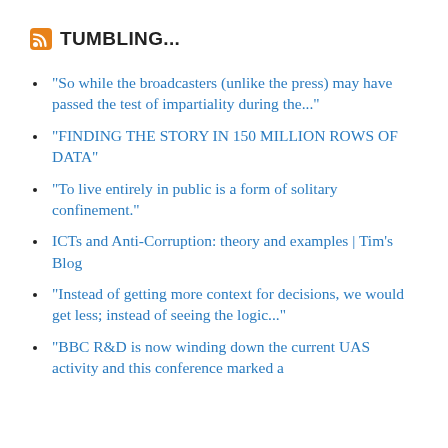TUMBLING...
"So while the broadcasters (unlike the press) may have passed the test of impartiality during the..."
"FINDING THE STORY IN 150 MILLION ROWS OF DATA"
"To live entirely in public is a form of solitary confinement."
ICTs and Anti-Corruption: theory and examples | Tim's Blog
"Instead of getting more context for decisions, we would get less; instead of seeing the logic..."
"BBC R&D is now winding down the current UAS activity and this conference marked a